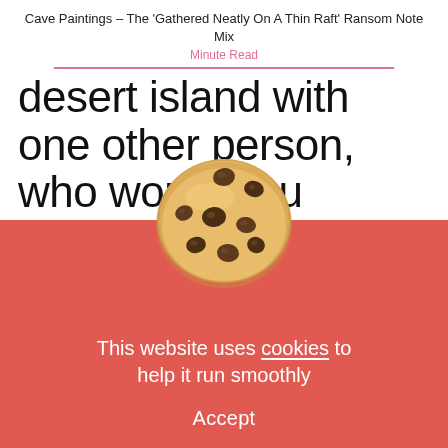Cave Paintings – The 'Gathered Neatly On A Thin Raft' Ransom Note Mix
Minute Read
desert island with one other person, who would you choose? How long would it be before you eat them?
AG: A person with meat on them.
[Figure (photo): A chocolate chip cookie overlapping the boundary between the white content area and the red cookie consent banner.]
This website uses cookies to help it run smoothly
Accept